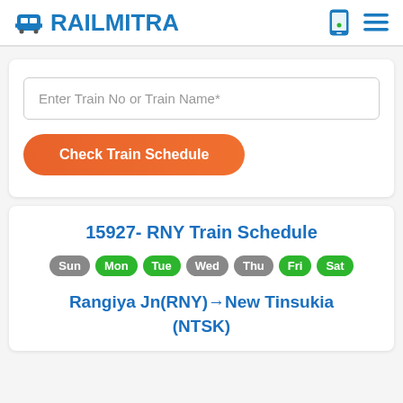RAILMITRA
Enter Train No or Train Name*
Check Train Schedule
15927- RNY Train Schedule
Sun Mon Tue Wed Thu Fri Sat
Rangiya Jn(RNY)→New Tinsukia (NTSK)